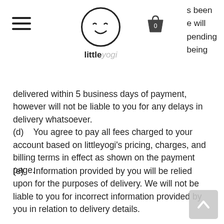littleyogi website header with hamburger menu and shopping cart
s been e will pending being
delivered within 5 business days of payment, however will not be liable to you for any delays in delivery whatsoever.
(d)    You agree to pay all fees charged to your account based on littleyogi’s pricing, charges, and billing terms in effect as shown on the payment page.
(e)    Information provided by you will be relied upon for the purposes of delivery. We will not be liable to you for incorrect information provided by you in relation to delivery details.
(f)    littleyogi attempts to be as accurate as possible. However, littleyogi does not warrant that the product descriptions made by littleyogi are accurate, complete, reliable, current or error-free. If a product offered by littleyogi is